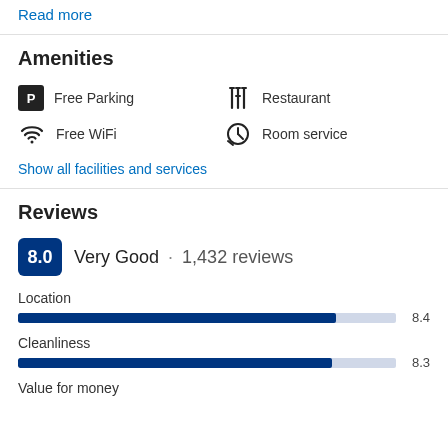Read more
Amenities
Free Parking
Free WiFi
Restaurant
Room service
Show all facilities and services
Reviews
8.0  Very Good · 1,432 reviews
Location
[Figure (infographic): Horizontal progress bar for Location rating 8.4 out of 10]
Cleanliness
[Figure (infographic): Horizontal progress bar for Cleanliness rating 8.3 out of 10]
Value for money